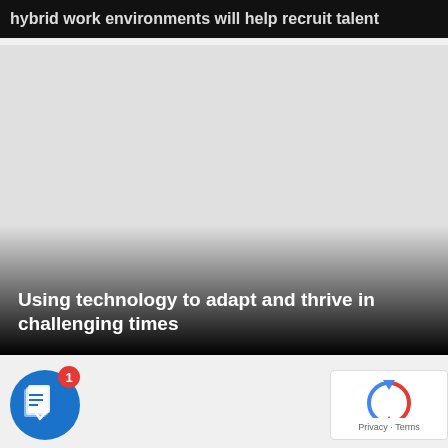hybrid work environments will help recruit talent
[Figure (photo): Gray placeholder image card with dark gradient at bottom, containing white text overlay]
Using technology to adapt and thrive in challenging times
[Figure (screenshot): Bottom card area showing a book/reading app icon with blue circular background and notification badge showing '1', plus a reCAPTCHA widget in the bottom right corner with Privacy - Terms text]